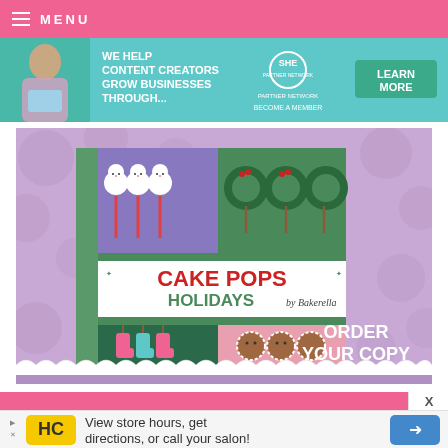≡ MENU
[Figure (infographic): SHE Partner Network banner ad: 'WE HELP CONTENT CREATORS GROW BUSINESSES THROUGH...' with a woman on the left, the SHE logo in the center, and a green 'LEARN MORE' button on the right. Also reads 'BECOME A MEMBER'.]
[Figure (infographic): Cake Pops Holidays by Bakerella book advertisement on a purple polka-dot background showing the book cover with holiday cake pops (polar bears, wreath pops, stocking pops, gingerbread pops). Text reads 'CAKE POPS HOLIDAYS by Bakerella' and 'ORDER YOUR COPY'.]
[Figure (infographic): Hair Club (HC) advertisement banner: 'View store hours, get directions, or call your salon!' with HC yellow logo and a blue arrow navigation icon. Includes ad indicator symbols.]